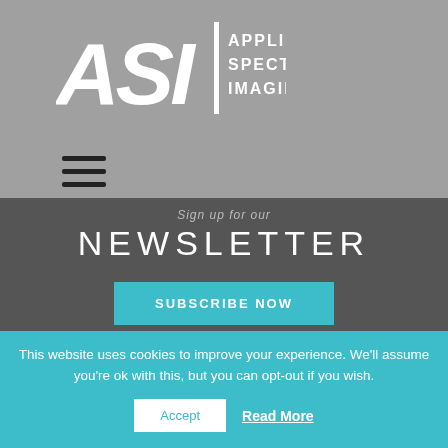[Figure (logo): Applied Spectral Imaging logo with ASI letters and company name]
[Figure (illustration): Hamburger menu icon (three horizontal lines)]
Sign up for our
NEWSLETTER
SUBSCRIBE NOW
[Figure (illustration): Social media icons: LinkedIn, YouTube, Facebook, Twitter]
Products
HiPath Pro™
About Us
Careers
This website uses cookies to improve your experience. We'll assume you're ok with this, but you can opt-out if you wish.
Accept
Read More